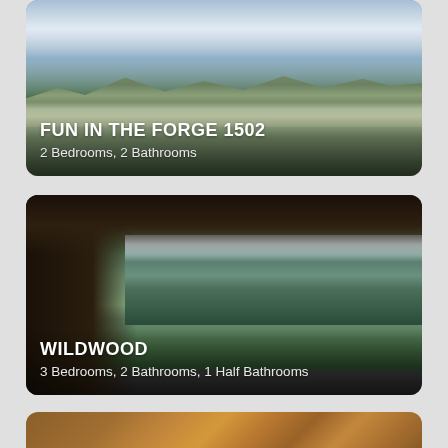[Figure (photo): Aerial view of a mountain town (Pigeon Forge/Gatlinburg area) with buildings, roads, and mountain range in background under cloudy sky. Text overlay shows property name and details.]
FUN IN THE FORGE 1502
2 Bedrooms, 2 Bathrooms
[Figure (photo): View from a covered wooden deck/porch looking out over forested mountains under partly cloudy sky. Dark wooden structural beams frame the view. A hot tub is visible in the foreground right. Text overlay shows property name and details.]
WILDWOOD
3 Bedrooms, 2 Bathrooms, 1 Half Bathrooms
[Figure (photo): Partial view of a log cabin interior showing wooden ceiling/walls and what appears to be a chandelier, cropped at the bottom of the page.]